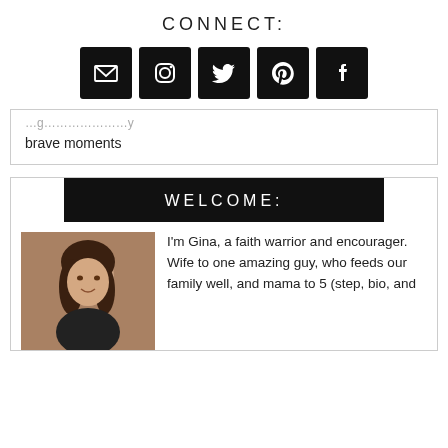CONNECT:
[Figure (infographic): Row of 5 social media icon buttons (email/envelope, Instagram, Twitter, Pinterest, Facebook) on black square backgrounds]
brave moments
WELCOME:
[Figure (photo): Portrait photo of Gina, a woman with brown hair, smiling, wearing a black top, in front of a wooden background]
I'm Gina, a faith warrior and encourager. Wife to one amazing guy, who feeds our family well, and mama to 5 (step, bio, and